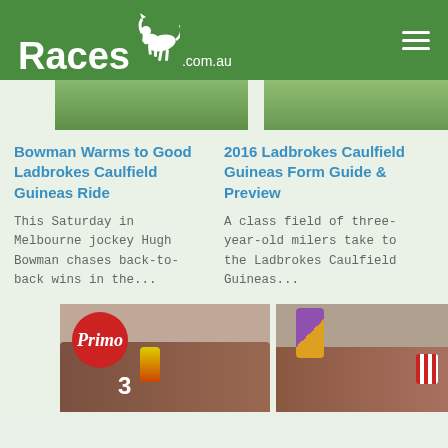Races.com.au
[Figure (photo): Top image strip showing horse racing photos, partially visible]
Bowman Warms to Good Ladbrokes Caulfield Guineas Ride
2016 Ladbrokes Caulfield Guineas Form Guide & Preview
This Saturday in Melbourne jockey Hugh Bowman chases back-to-back wins in the...
A class field of three-year-old milers take to the Ladbrokes Caulfield Guineas...
[Figure (photo): Horse racing photo with Primo branding and horse number 3]
[Figure (photo): Horse racing photo with jockey in purple and yellow silks]